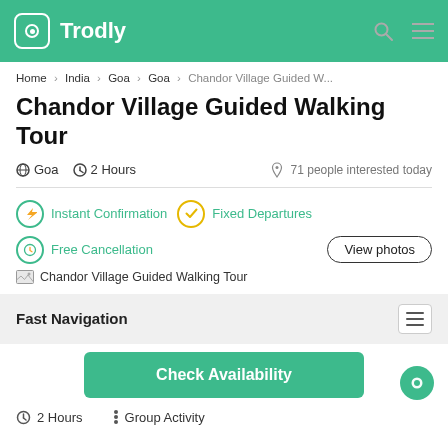Trodly
Home > India > Goa > Goa > Chandor Village Guided W...
Chandor Village Guided Walking Tour
Goa  2 Hours  71 people interested today
Instant Confirmation  Fixed Departures
Free Cancellation
[Figure (screenshot): Chandor Village Guided Walking Tour image placeholder with View photos button]
Fast Navigation
Check Availability
2 Hours  Group Activity